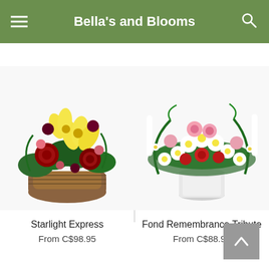Bella's and Blooms
Same Day Delivery ends in: 08 : 16 : 54
[Figure (photo): Starlight Express flower arrangement: basket with yellow lilies, dark red chrysanthemums and mixed flowers with green foliage]
Starlight Express
From C$98.95
[Figure (photo): Fond Remembrance Tribute flower arrangement: white vase with white daisies, pink carnations, red flowers and palm fronds]
Fond Remembrance Tribute
From C$88.95